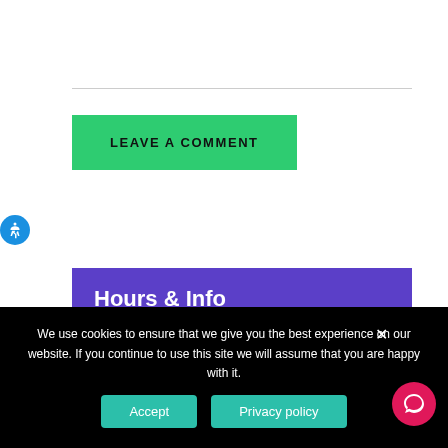LEAVE A COMMENT
Hours & Info
We use cookies to ensure that we give you the best experience on our website. If you continue to use this site we will assume that you are happy with it.
Accept
Privacy policy